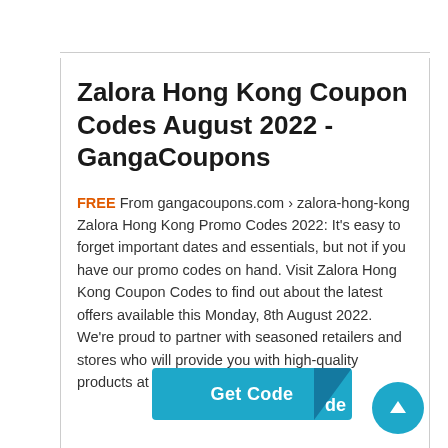Zalora Hong Kong Coupon Codes August 2022 - GangaCoupons
FREE From gangacoupons.com › zalora-hong-kong Zalora Hong Kong Promo Codes 2022: It's easy to forget important dates and essentials, but not if you have our promo codes on hand. Visit Zalora Hong Kong Coupon Codes to find out about the latest offers available this Monday, 8th August 2022. We're proud to partner with seasoned retailers and stores who will provide you with high-quality products at prices lower than expected. …
[Figure (other): Teal 'Get Code' button with dark triangle cutout and partially overlapping 'de' text, and a teal circular scroll-to-top button with upward arrow]